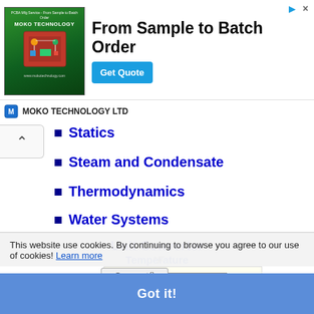[Figure (screenshot): Advertisement banner: MOKO Technology 'From Sample to Batch Order' with Get Quote button]
Statics
Steam and Condensate
Thermodynamics
Water Systems
Unit Converter
Temperature
0.0
°C
°F
Convert()
This website use cookies. By continuing to browse you agree to our use of cookies! Learn more
Got it!